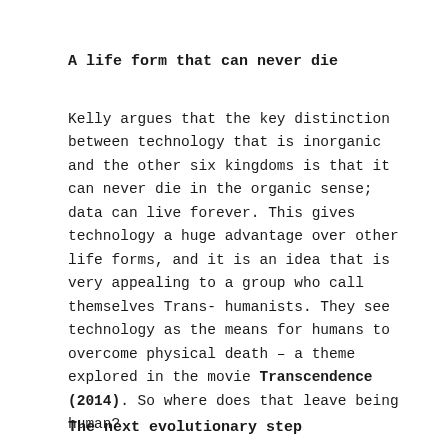A life form that can never die
Kelly argues that the key distinction between technology that is inorganic and the other six kingdoms is that it can never die in the organic sense; data can live forever. This gives technology a huge advantage over other life forms, and it is an idea that is very appealing to a group who call themselves Transhumanists. They see technology as the means for humans to overcome physical death – a theme explored in the movie Transcendence (2014). So where does that leave being human?
The next evolutionary step